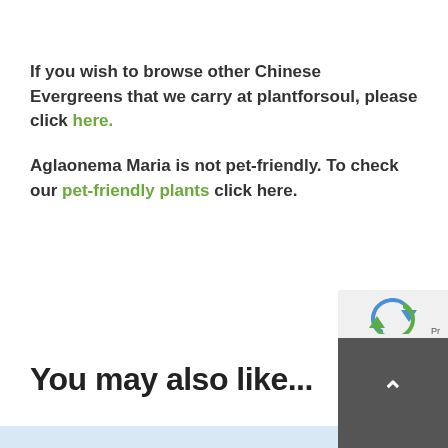If you wish to browse other Chinese Evergreens that we carry at plantforsoul, please click here.
Aglaonema Maria is not pet-friendly. To check our pet-friendly plants click here.
You may also like...